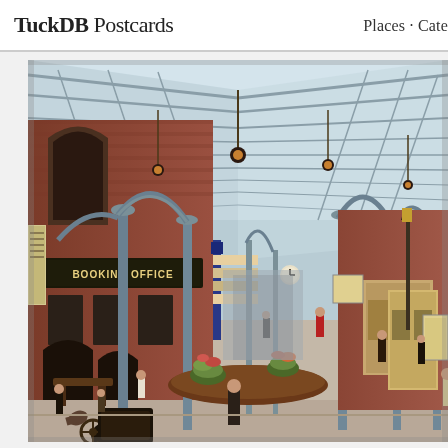TuckDB Postcards   Places · Cate
[Figure (illustration): Vintage illustrated postcard of a Victorian-era railway station interior. The scene shows a grand station hall with an ornate iron and glass roof structure. On the left is a brick building with arched windows and a 'BOOKING OFFICE' sign. Cast iron columns support the arched roof trusses. People in Victorian dress walk through the concourse. Potted plants and flower displays are placed centrally. A horse-drawn carriage enters from the bottom left. Hanging gas lamps are visible. The perspective leads deep into the station down the central concourse.]